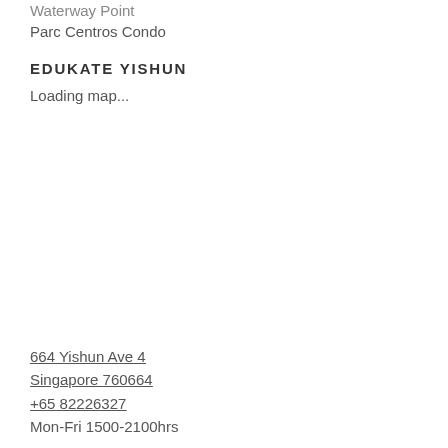Waterway Point
Parc Centros Condo
EDUKATE YISHUN
Loading map...
664 Yishun Ave 4
Singapore 760664
+65 82226327
Mon-Fri 1500-2100hrs